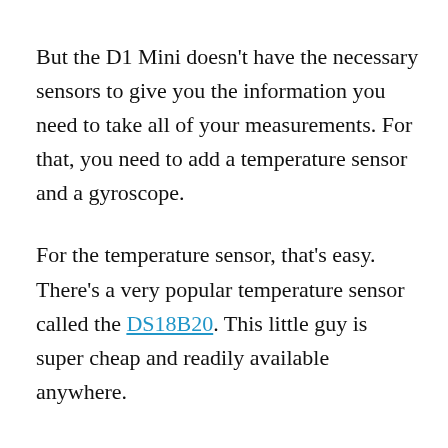But the D1 Mini doesn't have the necessary sensors to give you the information you need to take all of your measurements. For that, you need to add a temperature sensor and a gyroscope.
For the temperature sensor, that's easy. There's a very popular temperature sensor called the DS18B20. This little guy is super cheap and readily available anywhere.